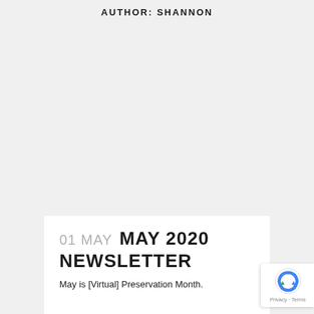AUTHOR: SHANNON
01 MAY  MAY 2020 NEWSLETTER
May is [Virtual] Preservation Month.